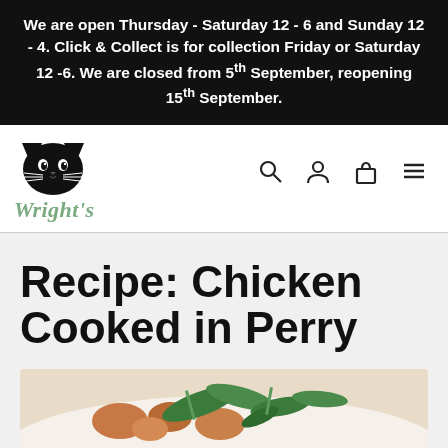We are open Thursday - Saturday 12 - 6 and Sunday 12 - 4. Click & Collect is for collection Friday or Saturday 12 -6. We are closed from 5th September, reopening 15th September.
[Figure (logo): Black cat silhouette logo above green italic text reading 'Wright's']
Recipe: Chicken Cooked in Perry
[Figure (photo): Photo of chicken cooked in perry dish with green vegetables in a white bowl, partially visible at bottom of page]